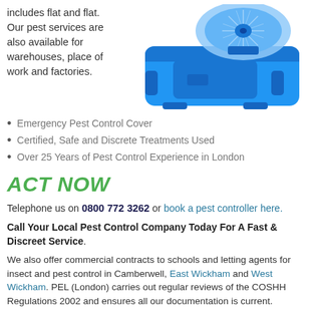includes flat and flat. Our pest services are also available for warehouses, place of work and factories.
[Figure (photo): A blue electronic pest control device with a circular fan/disc element on top]
Emergency Pest Control Cover
Certified, Safe and Discrete Treatments Used
Over 25 Years of Pest Control Experience in London
ACT NOW
Telephone us on 0800 772 3262 or book a pest controller here.
Call Your Local Pest Control Company Today For A Fast & Discreet Service.
We also offer commercial contracts to schools and letting agents for insect and pest control in Camberwell, East Wickham and West Wickham. PEL (London) carries out regular reviews of the COSHH Regulations 2002 and ensures all our documentation is current.
QuickLinks
rabbit pest control Camberwell